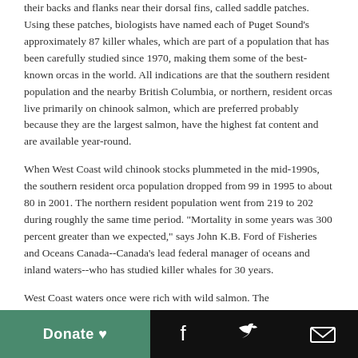their backs and flanks near their dorsal fins, called saddle patches. Using these patches, biologists have named each of Puget Sound's approximately 87 killer whales, which are part of a population that has been carefully studied since 1970, making them some of the best-known orcas in the world. All indications are that the southern resident population and the nearby British Columbia, or northern, resident orcas live primarily on chinook salmon, which are preferred probably because they are the largest salmon, have the highest fat content and are available year-round.
When West Coast wild chinook stocks plummeted in the mid-1990s, the southern resident orca population dropped from 99 in 1995 to about 80 in 2001. The northern resident population went from 219 to 202 during roughly the same time period. "Mortality in some years was 300 percent greater than we expected," says John K.B. Ford of Fisheries and Oceans Canada--Canada's lead federal manager of oceans and inland waters--who has studied killer whales for 30 years.
West Coast waters once were rich with wild salmon. The
Donate ♥  [Facebook]  [Twitter]  [Email]